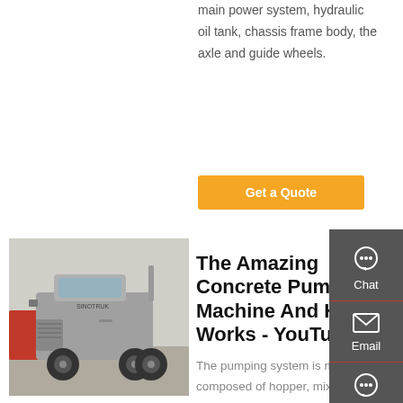main power system, hydraulic oil tank, chassis frame body, the axle and guide wheels.
Get a Quote
[Figure (photo): Silver heavy-duty truck/tractor cab parked in an outdoor lot with other vehicles visible in the background.]
The Amazing Concrete Pump Machine And How It Works - YouTube
The pumping system is mainly composed of hopper, mixing mechanism, concrete distribution valve, concrete conveying cylinder, washing room and main oil cylinder. The working principle